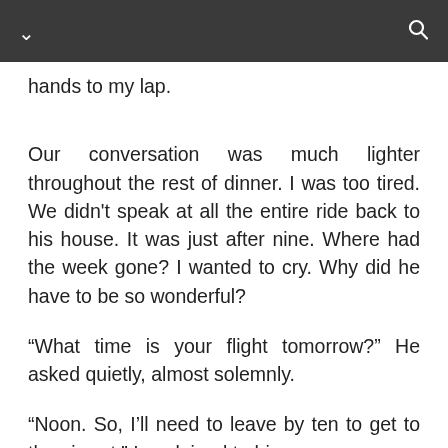hands to my lap.
Our conversation was much lighter throughout the rest of dinner. I was too tired. We didn't speak at all the entire ride back to his house. It was just after nine. Where had the week gone? I wanted to cry. Why did he have to be so wonderful?
“What time is your flight tomorrow?” He asked quietly, almost solemnly.
“Noon. So, I’ll need to leave by ten to get to the airport,” I explained to him.